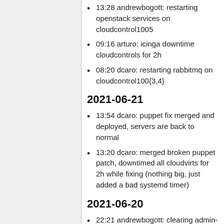13:28 andrewbogott: restarting openstack services on cloudcontrol1005
09:16 arturo: icinga downtime cloudcontrols for 2h
08:20 dcaro: restarting rabbitmq on cloudcontrol100{3,4}
2021-06-21
13:54 dcaro: puppet fix merged and deployed, servers are back to normal
13:20 dcaro: merged broken puppet patch, downtimed all cloudvirts for 2h while fixing (nothing big, just added a bad systemd timer)
2021-06-20
22:21 andrewbogott: clearing admin-monitoring VMs; puppet has been failing lately due to a full drive on the